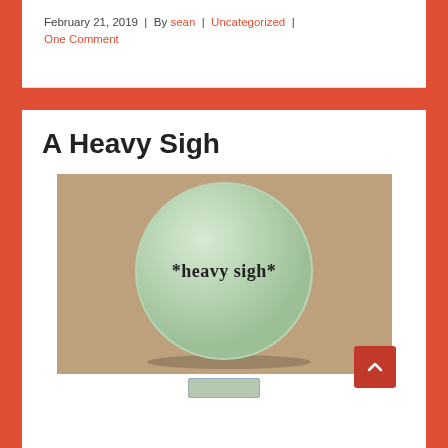February 21, 2019 | By sean | Uncategorized | One Comment
A Heavy Sigh
[Figure (photo): A light green circular button/badge with the text '*heavy sigh*' printed in dark serif font, resting on a kraft paper background.]